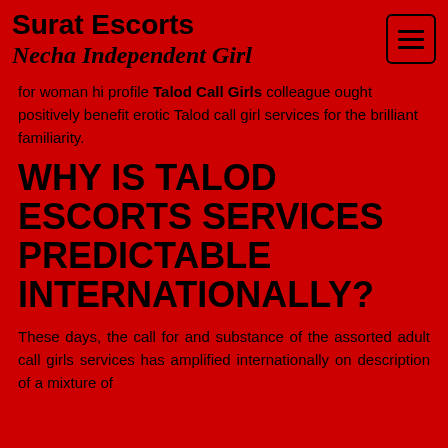Surat Escorts
Necha Independent Girl
for woman hi profile Talod Call Girls colleague ought positively benefit erotic Talod call girl services for the brilliant familiarity.
WHY IS TALOD ESCORTS SERVICES PREDICTABLE INTERNATIONALLY?
These days, the call for and substance of the assorted adult call girls services has amplified internationally on description of a mixture of